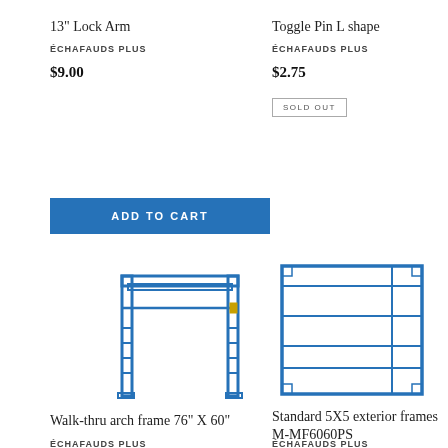13” Lock Arm
ÉCHAFAUDS PLUS
$9.00
Toggle Pin L shape
ÉCHAFAUDS PLUS
$2.75
SOLD OUT
ADD TO CART
[Figure (illustration): Walk-thru arch frame scaffold illustration in blue line drawing, showing arch frame with ladder rungs on both sides]
[Figure (illustration): Standard 5X5 exterior scaffold frame illustration in blue line drawing, showing rectangular frame with horizontal cross bars]
Walk-thru arch frame 76” X 60”
ÉCHAFAUDS PLUS
Standard 5X5 exterior frames M-MF6060PS
ÉCHAFAUDS PLUS